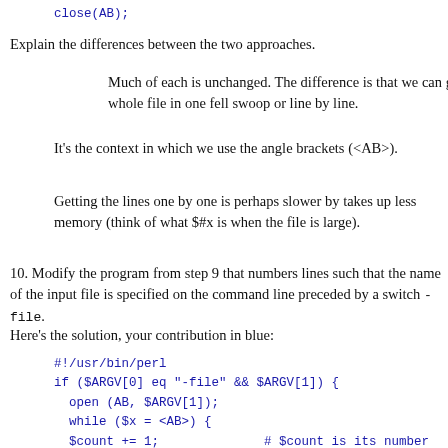close(AB);
Explain the differences between the two approaches.
Much of each is unchanged. The difference is that we can get the whole file in one fell swoop or line by line.
It's the context in which we use the angle brackets (<AB>).
Getting the lines one by one is perhaps slower by takes up less memory (think of what $#x is when the file is large).
10. Modify the program from step 9 that numbers lines such that the name of the input file is specified on the command line preceded by a switch -file.
Here's the solution, your contribution in blue:
#!/usr/bin/perl
if ($ARGV[0] eq "-file" && $ARGV[1]) {
  open (AB, $ARGV[1]);
  while ($x = <AB>) {
  $count += 1;              # $count is its number
  if ($count % 2 == 0) {